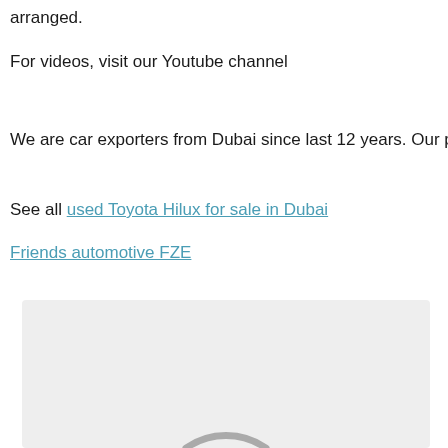arranged.
For videos, visit our Youtube channel
We are car exporters from Dubai since last 12 years. Our prices
See all used Toyota Hilux for sale in Dubai
Friends automotive FZE
[Figure (other): Loading spinner / placeholder image area with light gray background and a partial circular arc (loading indicator) visible at the bottom center]